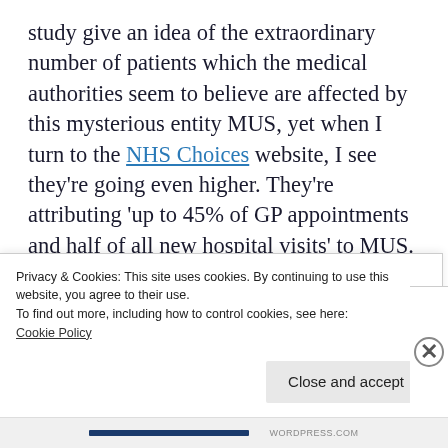study give an idea of the extraordinary number of patients which the medical authorities seem to believe are affected by this mysterious entity MUS, yet when I turn to the NHS Choices website, I see they're going even higher. They're attributing 'up to 45% of GP appointments and half of all new hospital visits' to MUS. If the trend goes on, there will soon be more people with MUS than with what I shall call (for the want of anything better) 'accredited illnesses'
Privacy & Cookies: This site uses cookies. By continuing to use this website, you agree to their use.
To find out more, including how to control cookies, see here:
Cookie Policy
Close and accept
WORDPRESS.COM